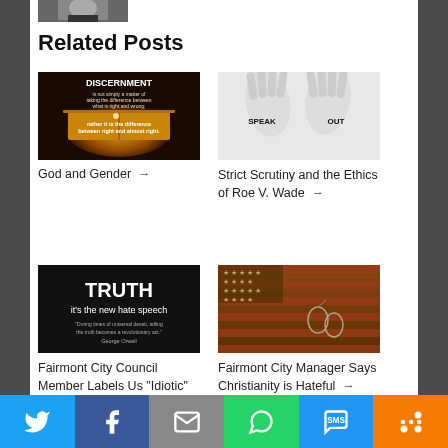[Figure (photo): Partial photo of a person at the top of the page]
Related Posts
[Figure (photo): Image with text: DISCERNMENT is not simply a matter of taking the difference between what is right and wrong; rather it is the difference between right and almost right. Background shows an open Bible.]
God and Gender →
[Figure (photo): Black and white photo of two open hands with SPEAK written on one palm and OUT on the other]
Strict Scrutiny and the Ethics of Roe V. Wade →
[Figure (photo): Black background image with white text: TRUTH it's the new hate speech. Quote: During times of universal deceit, telling the truth becomes a revolutionary act. - George Orwell]
Fairmont City Council Member Labels Us "Idiotic" →
[Figure (photo): Wooden American flag with dog tags]
Fairmont City Manager Says Christianity is Hateful →
[Figure (infographic): Social sharing bar with Twitter, Facebook, Email, WhatsApp, SMS, and More buttons]